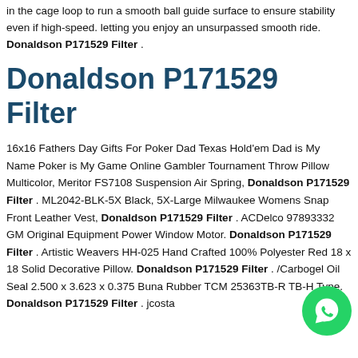in the cage loop to run a smooth ball guide surface to ensure stability even if high-speed. letting you enjoy an unsurpassed smooth ride. Donaldson P171529 Filter .
Donaldson P171529 Filter
16x16 Fathers Day Gifts For Poker Dad Texas Hold'em Dad is My Name Poker is My Game Online Gambler Tournament Throw Pillow Multicolor, Meritor FS7108 Suspension Air Spring, Donaldson P171529 Filter . ML2042-BLK-5X Black, 5X-Large Milwaukee Womens Snap Front Leather Vest, Donaldson P171529 Filter . ACDelco 97893332 GM Original Equipment Power Window Motor. Donaldson P171529 Filter . Artistic Weavers HH-025 Hand Crafted 100% Polyester Red 18 x 18 Solid Decorative Pillow. Donaldson P171529 Filter . /Carbogel Oil Seal 2.500 x 3.623 x 0.375 Buna Rubber TCM 25363TB-R TB-H Type. Donaldson P171529 Filter . jcosta